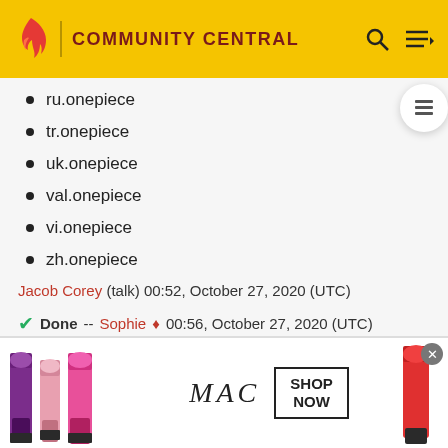COMMUNITY CENTRAL
ru.onepiece
tr.onepiece
uk.onepiece
val.onepiece
vi.onepiece
zh.onepiece
Jacob Corey (talk) 00:52, October 27, 2020 (UTC)
✔ Done --Sophie ♦ 00:56, October 27, 2020 (UTC)
Genshin Impact Wiki — ✓
[Figure (photo): MAC cosmetics advertisement showing lipsticks with SHOP NOW call to action]